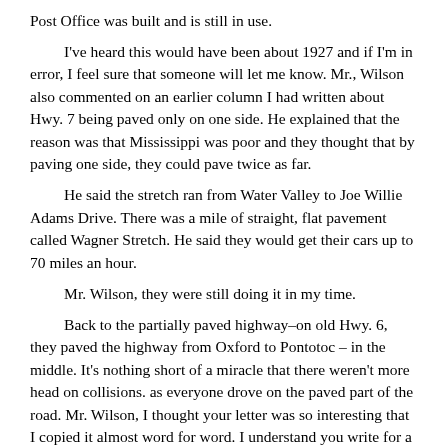Post Office was built and is still in use.
I've heard this would have been about 1927 and if I'm in error, I feel sure that someone will let me know.  Mr., Wilson also commented on an earlier column I had written about Hwy. 7 being paved only on one side. He explained that the reason was that Mississippi was poor and they thought that by paving one side, they could pave twice as far.
He said the stretch ran from Water Valley to Joe Willie Adams Drive.  There was a mile of straight, flat pavement called Wagner Stretch.  He said they would get their cars up to 70 miles an hour.
Mr. Wilson, they were still doing it in my time.
Back to the partially paved highway–on old Hwy. 6, they paved the highway from Oxford to Pontotoc – in the middle.  It's nothing short of a miracle that there weren't more head on collisions. as everyone drove on the paved part of the road.  Mr. Wilson, I thought your letter was so interesting that I copied it almost word for word.  I understand you write for a  Florida publication and my best to you on that and let me hear from you from time to time.
Since most of you have read my Christmas tree story, I decided to forego it as Mr. Wilson's letter was much more interesting.  My thanks